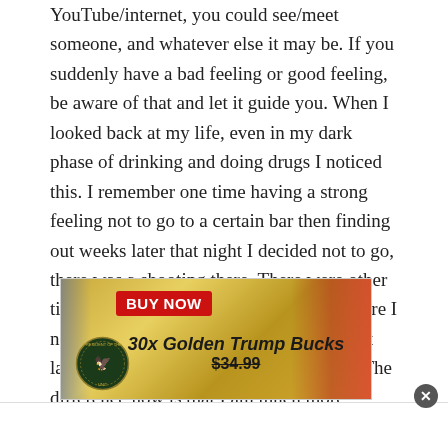YouTube/internet, you could see/meet someone, and whatever else it may be. If you suddenly have a bad feeling or good feeling, be aware of that and let it guide you. When I looked back at my life, even in my dark phase of drinking and doing drugs I noticed this. I remember one time having a strong feeling not to go to a certain bar then finding out weeks later that night I decided not to go, there was a shooting there. There were other times I seemed to not be present somewhere I normally would have been and finding out later that something bad happened there. The difference now is that I am much more consciously aware of these feelings now.
[Figure (infographic): Advertisement for '30x Golden Trump Bucks' showing a gold card with a presidential seal, a red 'BUY NOW' button, the product name in bold italic text, and a crossed-out price of $34.99. American flag imagery in the background.]